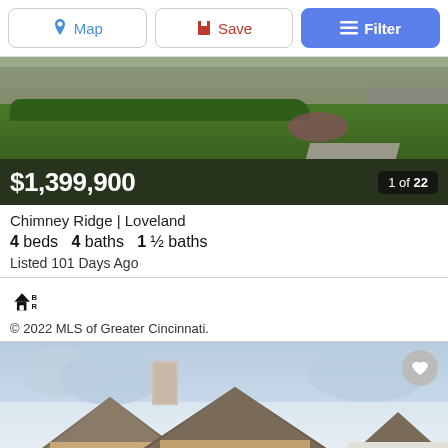[Figure (screenshot): Top navigation bar with Map, Save, and Filter buttons]
[Figure (photo): Exterior photo of house with green lawn, shrubs, and walkway. Price overlay shows $1,399,900 and photo count 1 of 22]
Chimney Ridge | Loveland
4 beds   4 baths   1 ½ baths
Listed 101 Days Ago
[Figure (logo): MLS house logo icon]
© 2022 MLS of Greater Cincinnati.
[Figure (photo): Second property listing photo showing rooftop with chimney and blue sky/trees background, with heart/save icon]